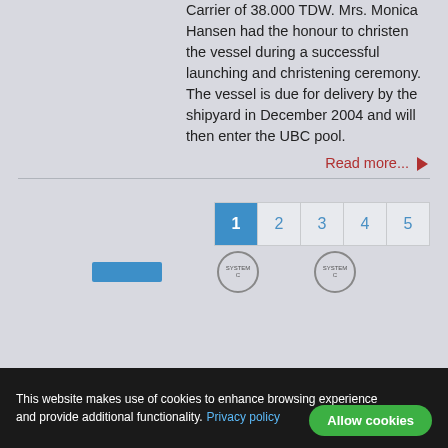Carrier of 38.000 TDW. Mrs. Monica Hansen had the honour to christen the vessel during a successful launching and christening ceremony. The vessel is due for delivery by the shipyard in December 2004 and will then enter the UBC pool.
Read more...
[Figure (screenshot): Pagination control showing pages 1 through 5, with page 1 highlighted in blue]
[Figure (screenshot): Partially visible footer area with blue button and circular system logos]
This website makes use of cookies to enhance browsing experience and provide additional functionality. Privacy policy
Allow cookies